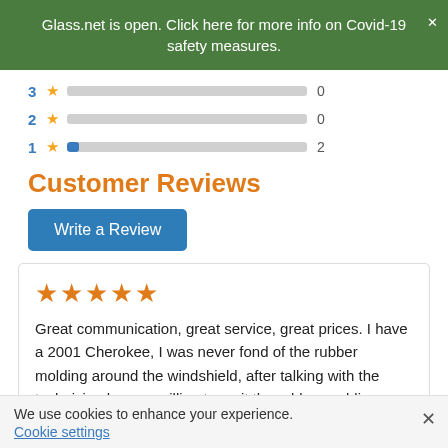Glass.net is open. Click here for more info on Covid-19 safety measures.
[Figure (bar-chart): Rating bars]
Customer Reviews
Write a Review
★★★★★
Great communication, great service, great prices. I have a 2001 Cherokee, I was never fond of the rubber molding around the windshield, after talking with the technician he was willing to omit the rubber molding
We use cookies to enhance your experience.
Cookie settings